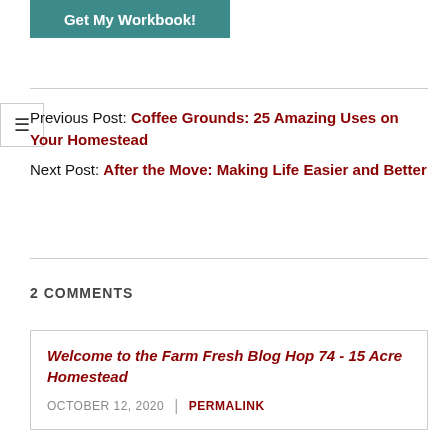[Figure (other): Teal/green button labeled 'Get My Workbook!']
Previous Post: Coffee Grounds: 25 Amazing Uses on Your Homestead
Next Post: After the Move: Making Life Easier and Better
2 COMMENTS
Welcome to the Farm Fresh Blog Hop 74 - 15 Acre Homestead
OCTOBER 12, 2020 | PERMALINK